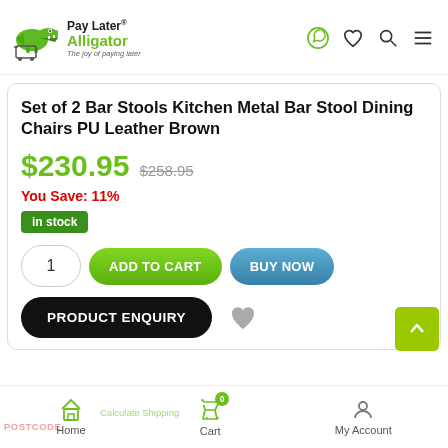[Figure (logo): Pay Later Alligator logo with green alligator mascot and shopping cart, brand name with registered trademark symbol, tagline 'The joy of paying later']
Set of 2 Bar Stools Kitchen Metal Bar Stool Dining Chairs PU Leather Brown
$230.95  $258.95
You Save: 11%
in stock
1  ADD TO CART  BUY NOW
PRODUCT ENQUIRY
Home  Cart  My Account